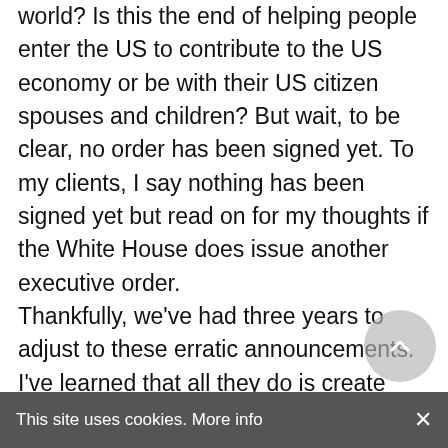world? Is this the end of helping people enter the US to contribute to the US economy or be with their US citizen spouses and children? But wait, to be clear, no order has been signed yet. To my clients, I say nothing has been signed yet but read on for my thoughts if the White House does issue another executive order.

Thankfully, we've had three years to adjust to these erratic announcements. I've learned that all they do is create chaos and do nothing to help the situation at hand which is that there are people dying in America due to the President's mismanagement of this crisis because this
This site uses cookies. More info ×